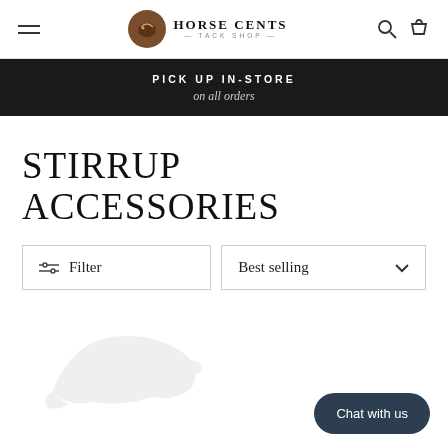Horse Cents Tack Shop — navigation header with hamburger menu, logo, search and cart icons
PICK UP IN-STORE on all orders
STIRRUP ACCESSORIES
Filter | Best selling
[Figure (illustration): Faded light gray silhouette of a stirrup/boot accessory product image placeholder]
Chat with us